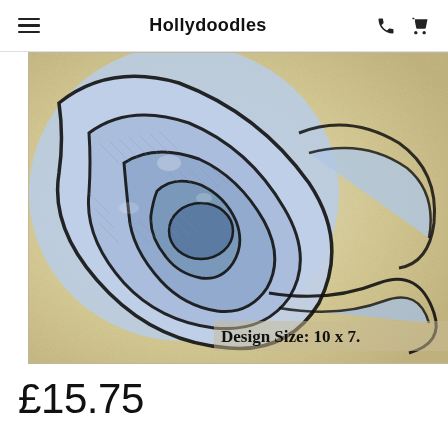Hollydoodles
[Figure (photo): Close-up of an embroidery design showing a blue/purple rose or floral pattern with black outline stitching on a cream/beige fabric background. Text overlay reads: Design Size: 10 x 7.]
Design Size: 10 x 7.
£15.75